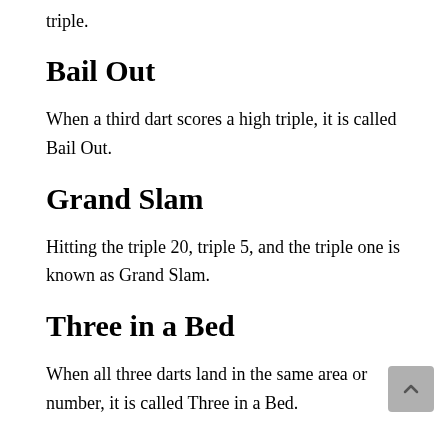triple.
Bail Out
When a third dart scores a high triple, it is called Bail Out.
Grand Slam
Hitting the triple 20, triple 5, and the triple one is known as Grand Slam.
Three in a Bed
When all three darts land in the same area or number, it is called Three in a Bed.